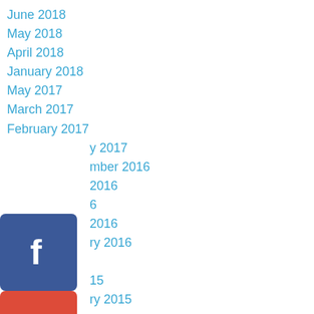June 2018
May 2018
April 2018
January 2018
May 2017
March 2017
February 2017
January 2017
September 2016
July 2016
June 2016
April 2016
February 2016
June 2015
April 2015
February 2015
June 2014
March 2014
February 2014
November 2013
September 2013
[Figure (logo): Facebook social media icon - blue rounded square with white 'f' letter]
[Figure (logo): Google+ social media icon - red rounded square with white 'G+' text]
[Figure (logo): Twitter social media icon - light blue rounded square with white bird logo]
[Figure (logo): Pinterest social media icon - dark red rounded square with white 'P' pin logo]
[Figure (logo): Blogger social media icon - orange rounded square with white 'B' logo]
[Figure (logo): YouTube social media icon - red rounded square with white 'YouTube' play button logo]